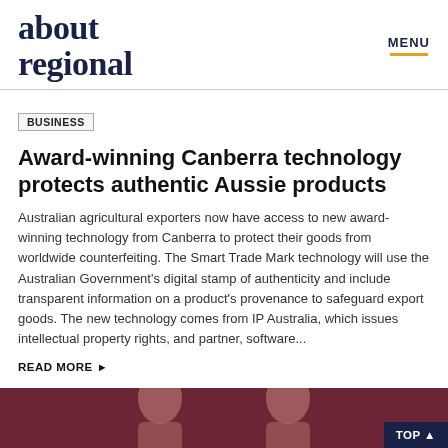about regional | MENU
BUSINESS
Award-winning Canberra technology protects authentic Aussie products
Australian agricultural exporters now have access to new award-winning technology from Canberra to protect their goods from worldwide counterfeiting. The Smart Trade Mark technology will use the Australian Government's digital stamp of authenticity and include transparent information on a product's provenance to safeguard export goods. The new technology comes from IP Australia, which issues intellectual property rights, and partner, software...
READ MORE ▶
[Figure (photo): Photo of two women against a dark red/maroon background, visible from approximately the shoulders up at the bottom of the page]